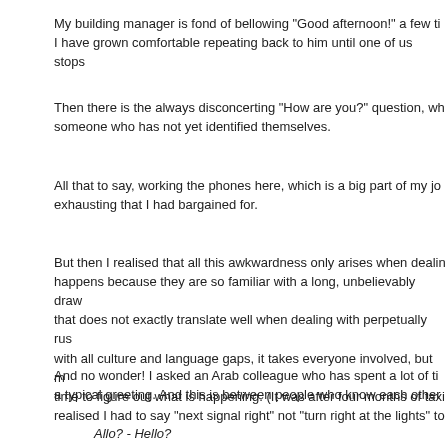My building manager is fond of bellowing "Good afternoon!" a few ti... I have grown comfortable repeating back to him until one of us stops
Then there is the always disconcerting "How are you?" question, wh... someone who has not yet identified themselves.
All that to say, working the phones here, which is a big part of my job... exhausting that I had bargained for.
But then I realised that all this awkwardness only arises when dealin... realised I had to say "next signal right" not "turn right at the lights" to
And no wonder! I asked an Arab colleague who has spent a lot of ti... a typical greeting. And this is between people who know each other
Allo? - Hello?
Allo marhaba! - Hello, hi!
Ahlan, Marhabtein. - Welcome, two hi's!
Keefek? Mneeha inshallah? - How are you? God willing you'r
Ah wallah, el hamdullilah, keefek INTI? - Oh yes, praise God